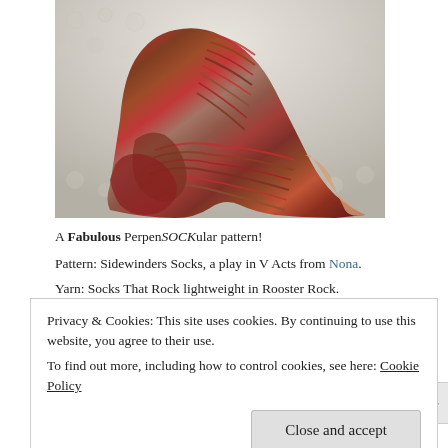[Figure (photo): A knitted sock with colorful striped pattern in reds, browns, and muted tones, resting on a textured white/cream background surface.]
A Fabulous PerpenSOCKular pattern!
Pattern: Sidewinders Socks, a play in V Acts from Nona.
Yarn: Socks That Rock lightweight in Rooster Rock.
Privacy & Cookies: This site uses cookies. By continuing to use this website, you agree to their use.
To find out more, including how to control cookies, see here: Cookie Policy
Close and accept